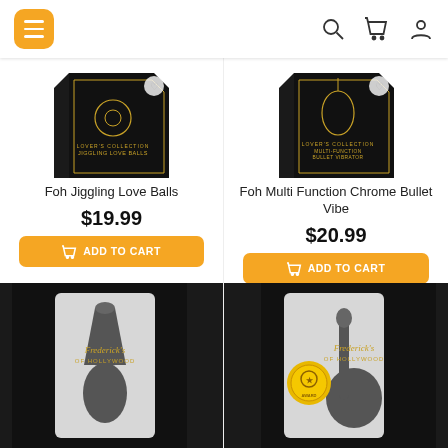Navigation bar with menu, search, cart, and account icons
[Figure (photo): Product image: Foh Jiggling Love Balls black box packaging]
Foh Jiggling Love Balls
$19.99
ADD TO CART
[Figure (photo): Product image: Foh Multi Function Chrome Bullet Vibe black box packaging]
Foh Multi Function Chrome Bullet Vibe
$20.99
ADD TO CART
[Figure (photo): Frederick's of Hollywood product packaging (bottom, partially visible)]
[Figure (photo): Frederick's of Hollywood product packaging with gold award sticker (bottom, partially visible)]